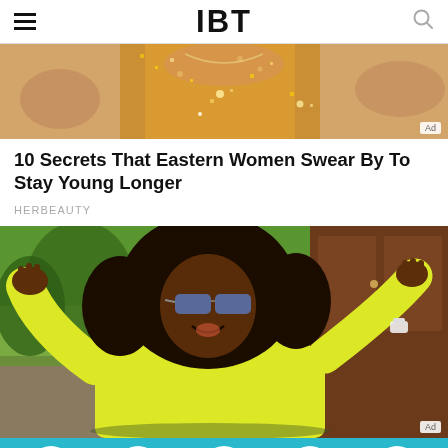IBT
[Figure (photo): Advertisement image showing a woman in a gold glittery outfit with hands visible]
10 Secrets That Eastern Women Swear By To Stay Young Longer
HERBEAUTY
[Figure (photo): Woman in a yellow top with large curly hair and sunglasses, arms raised, smiling — appears to be Oprah Winfrey]
Social sharing bar with Facebook, Twitter, LinkedIn, Messenger, WhatsApp icons